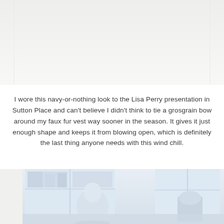[Figure (photo): Top portion of a photo, mostly white/light background, partially visible at top of page]
I wore this navy-or-nothing look to the Lisa Perry presentation in Sutton Place and can't believe I didn't think to tie a grosgrain bow around my faux fur vest way sooner in the season. It gives it just enough shape and keeps it from blowing open, which is definitely the last thing anyone needs with this wind chill.
[Figure (photo): Interior room scene with bright windows showing a city view, mannequins or display forms visible, light blue and white tones]